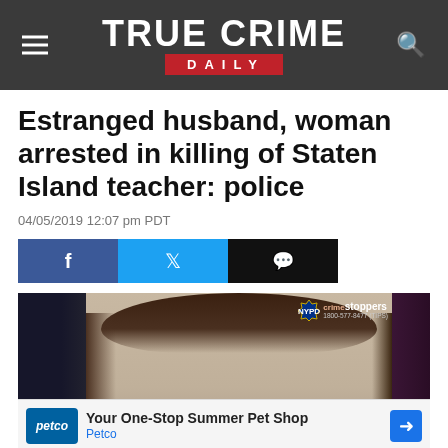TRUE CRIME DAILY
Estranged husband, woman arrested in killing of Staten Island teacher: police
04/05/2019 12:07 pm PDT
[Figure (screenshot): Social sharing buttons: Facebook (blue), Twitter (blue), Comment (black)]
[Figure (photo): Mugshot photo of a young woman with dark hair, NYPD CrimeStoppers badge visible in upper right corner. Dark background on sides.]
Your One-Stop Summer Pet Shop
Petco